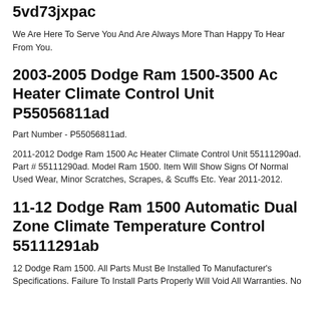5vd73jxpac
We Are Here To Serve You And Are Always More Than Happy To Hear From You.
2003-2005 Dodge Ram 1500-3500 Ac Heater Climate Control Unit P55056811ad
Part Number - P55056811ad.
2011-2012 Dodge Ram 1500 Ac Heater Climate Control Unit 55111290ad. Part # 55111290ad. Model Ram 1500. Item Will Show Signs Of Normal Used Wear, Minor Scratches, Scrapes, & Scuffs Etc. Year 2011-2012.
11-12 Dodge Ram 1500 Automatic Dual Zone Climate Temperature Control 55111291ab
12 Dodge Ram 1500. All Parts Must Be Installed To Manufacturer's Specifications. Failure To Install Parts Properly Will Void All Warranties. No